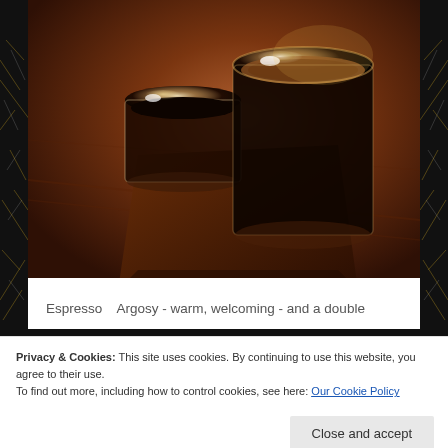[Figure (photo): Close-up photo of two espresso shot glasses on a wooden tray on a wooden table, warm amber tones with bokeh sparkle effects on dark background border]
Espresso   Argosy - warm, welcoming - and a double
Privacy & Cookies: This site uses cookies. By continuing to use this website, you agree to their use.
To find out more, including how to control cookies, see here: Our Cookie Policy
Close and accept
Thames St Baltimore, MD 21231